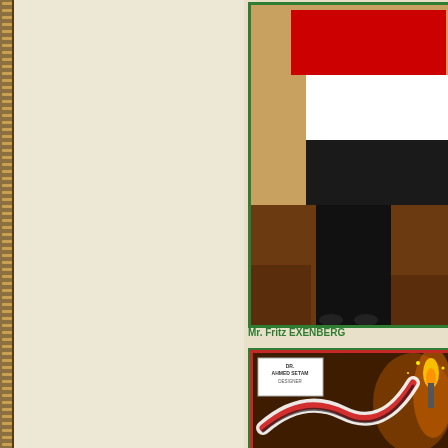[Figure (photo): Left decorative vertical border strip with golden-brown repeating pattern]
[Figure (photo): Cream/beige background area occupying the left portion of the page]
[Figure (photo): Photo of a person holding a Yemeni flag (red, white, black horizontal stripes) in a room setting, framed with green border]
Mr. Fritz EXENBERG
[Figure (illustration): Decorative design box with dark brown background, ribbon in Yemeni flag colors (red, white, black), label reading 'DR. AHMED SETAM DESIGNER', and yellow flame elements. Framed with red and green borders.]